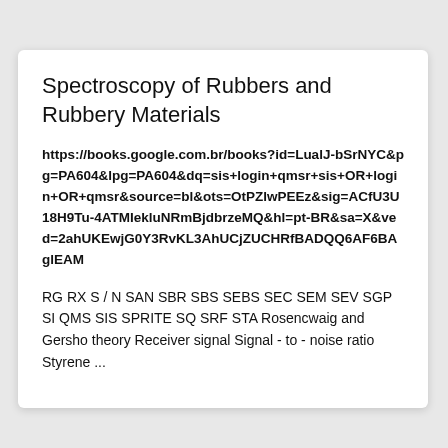Spectroscopy of Rubbers and Rubbery Materials
https://books.google.com.br/books?id=LualJ-bSrNYC&pg=PA604&lpg=PA604&dq=sis+login+qmsr+sis+OR+login+OR+qmsr&source=bl&ots=OtPZlwPEEz&sig=ACfU3U18H9Tu-4ATMIekluNRmBjdbrzeMQ&hl=pt-BR&sa=X&ved=2ahUKEwjG0Y3RvKL3AhUCjZUCHRfBADQQ6AF6BAglEAM
RG RX S / N SAN SBR SBS SEBS SEC SEM SEV SGP SI QMS SIS SPRITE SQ SRF STA Rosencwaig and Gersho theory Receiver signal Signal - to - noise ratio Styrene ...